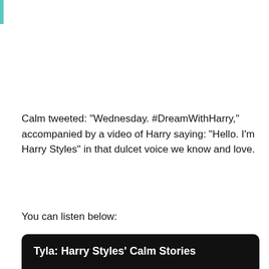Calm tweeted: "Wednesday. #DreamWithHarry," accompanied by a video of Harry saying: "Hello. I'm Harry Styles" in that dulcet voice we know and love.
You can listen below:
[Figure (screenshot): Video player with black background showing title 'Tyla: Harry Styles' Calm Stories' and a play button in the center]